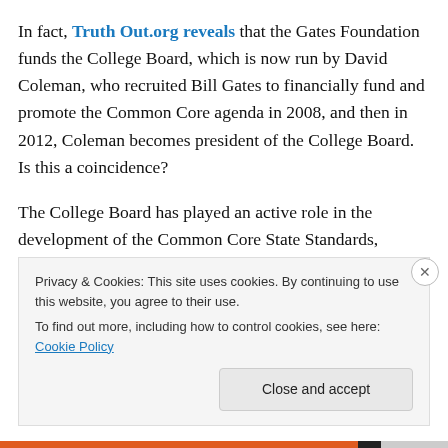In fact, Truth Out.org reveals that the Gates Foundation funds the College Board, which is now run by David Coleman, who recruited Bill Gates to financially fund and promote the Common Core agenda in 2008, and then in 2012, Coleman becomes president of the College Board. Is this a coincidence?
The College Board has played an active role in the development of the Common Core State Standards, because the College Board is heavily into standardized testing: SAT®, the PSAT/NMSQT®, the Advanced
Privacy & Cookies: This site uses cookies. By continuing to use this website, you agree to their use.
To find out more, including how to control cookies, see here: Cookie Policy